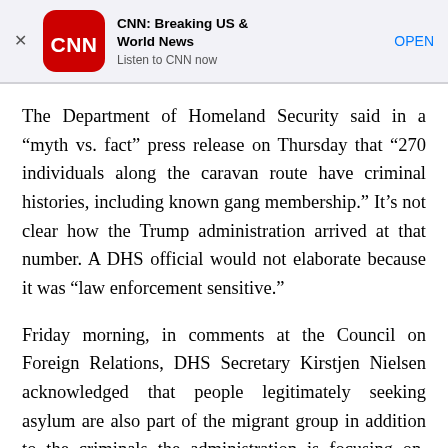[Figure (logo): CNN app banner advertisement with CNN logo, app name 'CNN: Breaking US & World News', tagline 'Listen to CNN now', and an OPEN button]
The Department of Homeland Security said in a “myth vs. fact” press release on Thursday that “270 individuals along the caravan route have criminal histories, including known gang membership.” It’s not clear how the Trump administration arrived at that number. A DHS official would not elaborate because it was “law enforcement sensitive.”
Friday morning, in comments at the Council on Foreign Relations, DHS Secretary Kirstjen Nielsen acknowledged that people legitimately seeking asylum are also part of the migrant group in addition to the criminals the administration is focusing on. “(They) are proving to be quite violent. They are